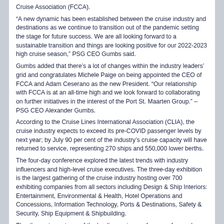Cruise Association (FCCA).
“A new dynamic has been established between the cruise industry and destinations as we continue to transition out of the pandemic setting the stage for future success. We are all looking forward to a sustainable transition and things are looking positive for our 2022-2023 high cruise season,” PSG CEO Gumbs said.
Gumbs added that there’s a lot of changes within the industry leaders’ grid and congratulates Michele Paige on being appointed the CEO of FCCA and Adam Ceserano as the new President. “Our relationship with FCCA is at an all-time high and we look forward to collaborating on further initiatives in the interest of the Port St. Maarten Group.” – PSG CEO Alexander Gumbs.
According to the Cruise Lines International Association (CLIA), the cruise industry expects to exceed its pre-COVID passenger levels by next year; by July 90 per cent of the industry’s cruise capacity will have returned to service, representing 270 ships and 550,000 lower berths.
The four-day conference explored the latest trends with industry influencers and high-level cruise executives. The three-day exhibition is the largest gathering of the cruise industry hosting over 700 exhibiting companies from all sectors including Design & Ship Interiors: Entertainment, Environmental & Health, Hotel Operations and Concessions, Information Technology, Ports & Destinations, Safety & Security, Ship Equipment & Shipbuilding.
The discussions at one of the leading cruise conferences focused on the cruise industry and destinations banding together to survive the COVID-